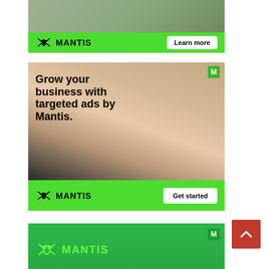[Figure (illustration): Mantis advertising banner (top, partial): green bar with Mantis logo and 'Learn more' button]
[Figure (illustration): Mantis advertising banner: 'Grow your business with targeted ads by Mantis.' with woman photo, Mantis logo and 'Get started' button]
[Figure (illustration): Mantis advertising banner (bottom, partial): green background with Mantis logo in green outline]